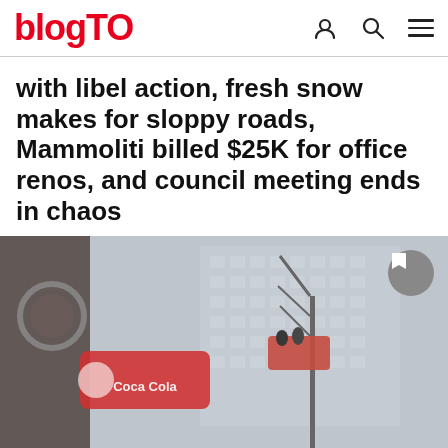blogTO
with libel action, fresh snow makes for sloppy roads, Mammoliti billed $25K for office renos, and council meeting ends in chaos
[Figure (photo): Snowy urban scene showing workers in a crane bucket lift near a large illuminated sign, with a foggy building in the background. The image is taken in poor visibility winter weather conditions.]